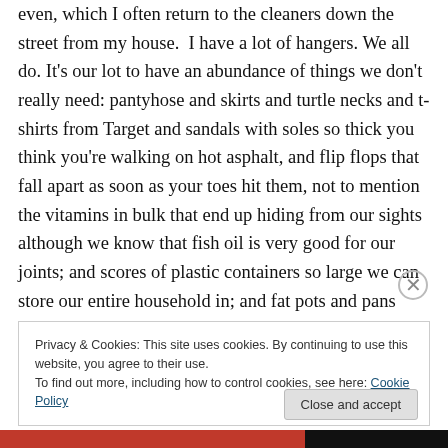even, which I often return to the cleaners down the street from my house.  I have a lot of hangers. We all do. It's our lot to have an abundance of things we don't really need: pantyhose and skirts and turtle necks and t-shirts from Target and sandals with soles so thick you think you're walking on hot asphalt, and flip flops that fall apart as soon as your toes hit them, not to mention the vitamins in bulk that end up hiding from our sights although we know that fish oil is very good for our joints; and scores of plastic containers so large we can store our entire household in; and fat pots and pans which sit most of the year in the
Privacy & Cookies: This site uses cookies. By continuing to use this website, you agree to their use.
To find out more, including how to control cookies, see here: Cookie Policy